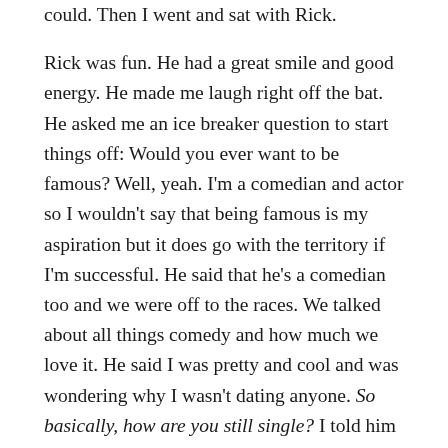could. Then I went and sat with Rick. Rick was fun. He had a great smile and good energy. He made me laugh right off the bat. He asked me an ice breaker question to start things off: Would you ever want to be famous? Well, yeah. I'm a comedian and actor so I wouldn't say that being famous is my aspiration but it does go with the territory if I'm successful. He said that he's a comedian too and we were off to the races. We talked about all things comedy and how much we love it. He said I was pretty and cool and was wondering why I wasn't dating anyone. So basically, how are you still single? I told him I was just unlucky and diverted the conversation elsewhere. Rick told me that he liked me and he felt that we were